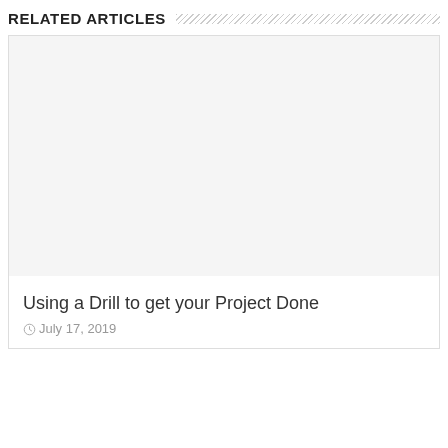RELATED ARTICLES
[Figure (photo): Empty white image placeholder for article thumbnail]
Using a Drill to get your Project Done
July 17, 2019